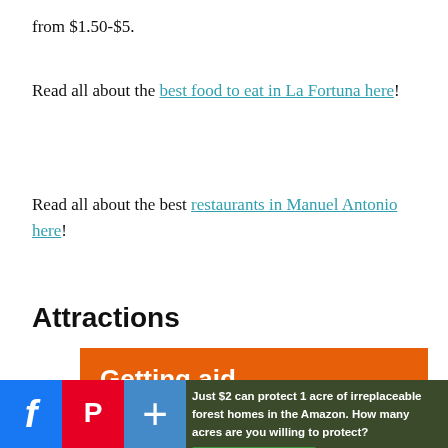from $1.50-$5.
Read all about the best food to eat in La Fortuna here!
Read all about the best restaurants in Manuel Antonio here!
Attractions
[Figure (other): Orange advertisement banner with white bold text 'Getting aid']
[Figure (other): Social sharing bar with Facebook, Pinterest, and Google+ buttons alongside a forest conservation ad: 'Just $2 can protect 1 acre of irreplaceable forest homes in the Amazon. How many acres are you willing to protect?' with a green 'PROTECT FORESTS NOW' button]